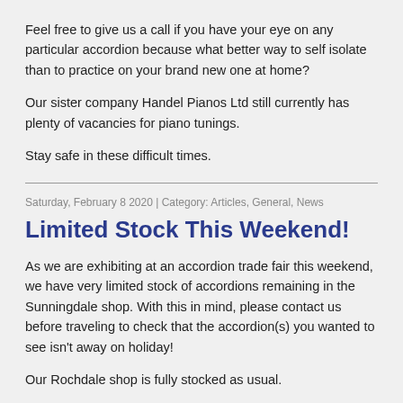Feel free to give us a call if you have your eye on any particular accordion because what better way to self isolate than to practice on your brand new one at home?
Our sister company Handel Pianos Ltd still currently has plenty of vacancies for piano tunings.
Stay safe in these difficult times.
Saturday, February 8 2020 | Category: Articles, General, News
Limited Stock This Weekend!
As we are exhibiting at an accordion trade fair this weekend, we have very limited stock of accordions remaining in the Sunningdale shop. With this in mind, please contact us before traveling to check that the accordion(s) you wanted to see isn't away on holiday!
Our Rochdale shop is fully stocked as usual.